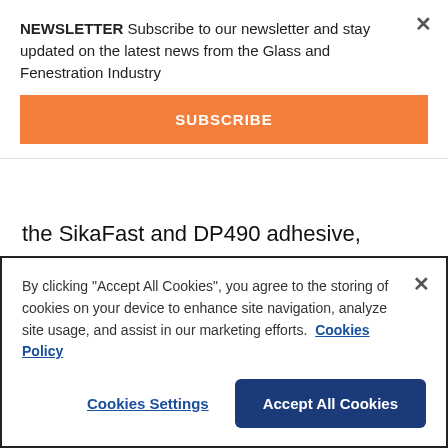NEWSLETTER Subscribe to our newsletter and stay updated on the latest news from the Glass and Fenestration Industry
SUBSCRIBE
the SikaFast and DP490 adhesive, respectively, see Fig. 10.
For the SikaFast, a residual mass of 25 % is left until 700 °C whereas 15-20 % mass residual is
By clicking "Accept All Cookies", you agree to the storing of cookies on your device to enhance site navigation, analyze site usage, and assist in our marketing efforts. Cookies Policy
Cookies Settings
Accept All Cookies